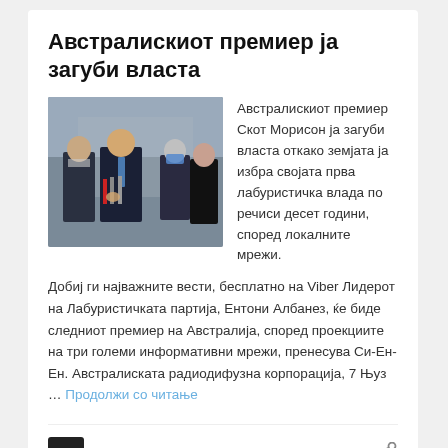Австралискиот премиер ја загуби власта
[Figure (photo): Photo of Scott Morrison at a press conference with microphones, accompanied by other people including a person wearing a blue mask]
Австралискиот премиер Скот Морисон ја загуби власта откако земјата ја избра својата прва лабуристичка влада по речиси десет години, според локалните мрежи.
Добиј ги најважните вести, бесплатно на Viber Лидерот на Лабуристичката партија, Ентони Албанез, ќе биде следниот премиер на Австралија, според проекциите на три големи информативни мрежи, пренесува Си-Ен-Ен. Австралиската радиодифузна корпорација, 7 Њуз … Продолжи со читање
Слободен печат